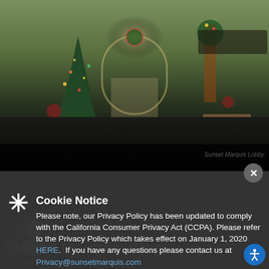[Figure (photo): Hotel lobby interior with Christmas trees and holiday decorations, archway entrance, dark floor in foreground]
Sunset Marquis Lobby
Cookie Notice
Please note, our Privacy Policy has been updated to comply with the California Consumer Privacy Act (CCPA). Please refer to the Privacy Policy which takes effect on January 1, 2020 HERE.  If you have any questions please contact us at Privacy@sunsetmarquis.com
We use cookies to personalize content and ads, to provide social media features and to analyze our traffic. We also share information about your use of our site with our social media, advertising and analytics partners.
Sunset Marquis Blog
By: Audrey Wooster